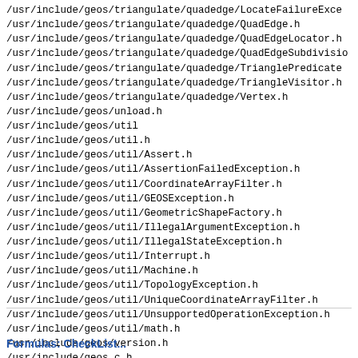/usr/include/geos/triangulate/quadedge/LocateFailureExce...
/usr/include/geos/triangulate/quadedge/QuadEdge.h
/usr/include/geos/triangulate/quadedge/QuadEdgeLocator.h
/usr/include/geos/triangulate/quadedge/QuadEdgeSubdivisio...
/usr/include/geos/triangulate/quadedge/TrianglePredicate...
/usr/include/geos/triangulate/quadedge/TriangleVisitor.h
/usr/include/geos/triangulate/quadedge/Vertex.h
/usr/include/geos/unload.h
/usr/include/geos/util
/usr/include/geos/util.h
/usr/include/geos/util/Assert.h
/usr/include/geos/util/AssertionFailedException.h
/usr/include/geos/util/CoordinateArrayFilter.h
/usr/include/geos/util/GEOSException.h
/usr/include/geos/util/GeometricShapeFactory.h
/usr/include/geos/util/IllegalArgumentException.h
/usr/include/geos/util/IllegalStateException.h
/usr/include/geos/util/Interrupt.h
/usr/include/geos/util/Machine.h
/usr/include/geos/util/TopologyException.h
/usr/include/geos/util/UniqueCoordinateArrayFilter.h
/usr/include/geos/util/UnsupportedOperationException.h
/usr/include/geos/util/math.h
/usr/include/geos/version.h
/usr/include/geos_c.h
/usr/lib/libgeos.so
/usr/lib/libgeos_c.so
Formulas: CheckList...